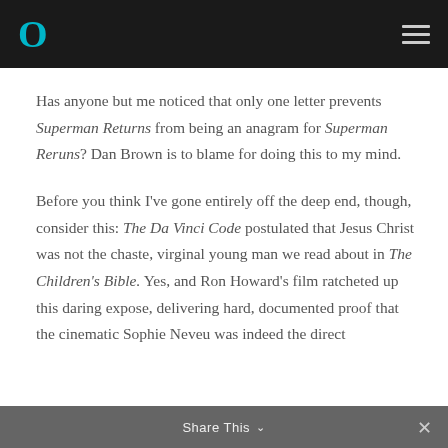O
Has anyone but me noticed that only one letter prevents Superman Returns from being an anagram for Superman Reruns? Dan Brown is to blame for doing this to my mind.
Before you think I've gone entirely off the deep end, though, consider this: The Da Vinci Code postulated that Jesus Christ was not the chaste, virginal young man we read about in The Children's Bible. Yes, and Ron Howard's film ratcheted up this daring expose, delivering hard, documented proof that the cinematic Sophie Neveu was indeed the direct…